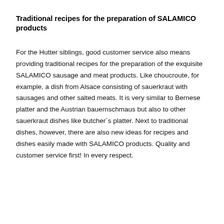Traditional recipes for the preparation of SALAMICO products
For the Hutter siblings, good customer service also means providing traditional recipes for the preparation of the exquisite SALAMICO sausage and meat products. Like choucroute, for example, a dish from Alsace consisting of sauerkraut with sausages and other salted meats. It is very similar to Bernese platter and the Austrian bauernschmaus but also to other sauerkraut dishes like butcher´s platter. Next to traditional dishes, however, there are also new ideas for recipes and dishes easily made with SALAMICO products. Quality and customer service first! In every respect.